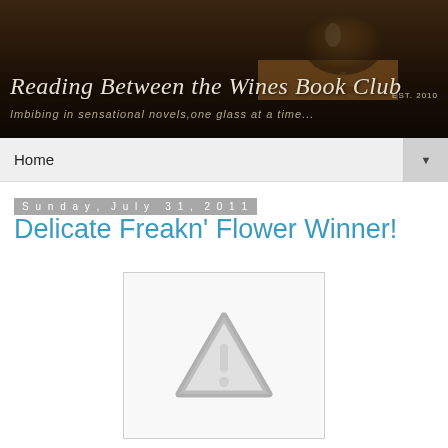[Figure (photo): Banner image showing a wine glass on a wooden surface with dark background. Text overlay reads 'Reading Between the Wines Book Club EST. 2010' and subtitle 'Imbibing in sensational novels,one glass at a time...']
Home
Sunday, July 31, 2011
Delicate Freakn' Flower Winner!
[Figure (illustration): Broken image placeholder showing a gray warning triangle with exclamation mark]